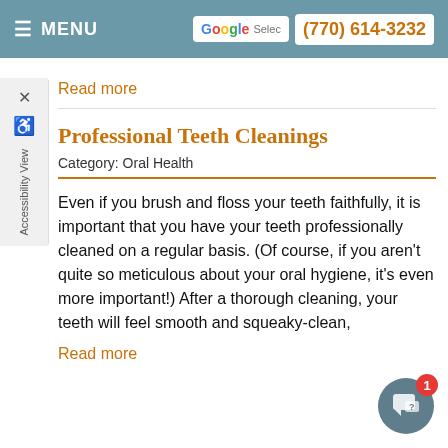MENU | Selec(770)614-3232
Read more
Professional Teeth Cleanings
Category: Oral Health
Even if you brush and floss your teeth faithfully, it is important that you have your teeth professionally cleaned on a regular basis. (Of course, if you aren't quite so meticulous about your oral hygiene, it's even more important!) After a thorough cleaning, your teeth will feel smooth and squeaky-clean,
Read more